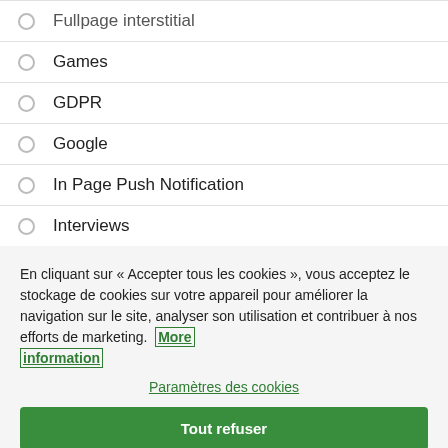Fullpage interstitial
Games
GDPR
Google
In Page Push Notification
Interviews
En cliquant sur « Accepter tous les cookies », vous acceptez le stockage de cookies sur votre appareil pour améliorer la navigation sur le site, analyser son utilisation et contribuer à nos efforts de marketing.  More information
Paramètres des cookies
Tout refuser
Autoriser tous les cookies